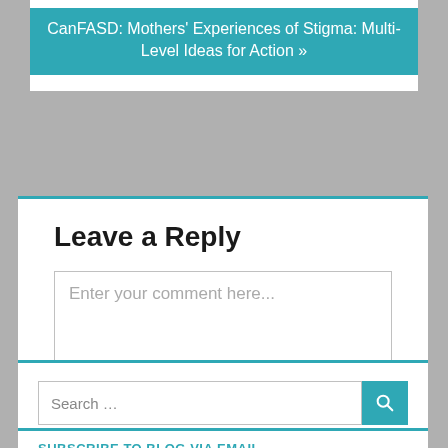CanFASD: Mothers' Experiences of Stigma: Multi-Level Ideas for Action »
Leave a Reply
Enter your comment here...
Search …
SUBSCRIBE TO BLOG VIA EMAIL